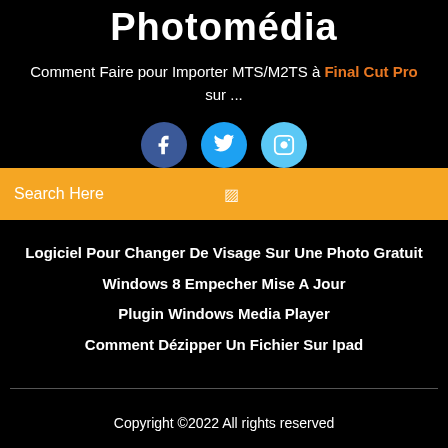Photomédia
Comment Faire pour Importer MTS/M2TS à Final Cut Pro sur ...
[Figure (illustration): Three social media icon buttons: Facebook (dark blue), Twitter (blue), Instagram (light blue), each circular with white icons]
Search Here
Logiciel Pour Changer De Visage Sur Une Photo Gratuit
Windows 8 Empecher Mise A Jour
Plugin Windows Media Player
Comment Dézipper Un Fichier Sur Ipad
Copyright ©2022 All rights reserved